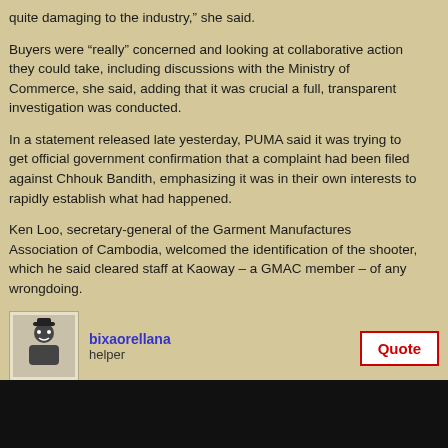quite damaging to the industry," she said.
Buyers were “really” concerned and looking at collaborative action they could take, including discussions with the Ministry of Commerce, she said, adding that it was crucial a full, transparent investigation was conducted.
In a statement released late yesterday, PUMA said it was trying to get official government confirmation that a complaint had been filed against Chhouk Bandith, emphasizing it was in their own interests to rapidly establish what had happened.
Ken Loo, secretary-general of the Garment Manufactures Association of Cambodia, welcomed the identification of the shooter, which he said cleared staff at Kaoway – a GMAC member – of any wrongdoing.
“[But] what about the violence? We also need the government to take action against the workers or whoever was behind the mob activity that destroyed the property of Kaoway factory,” he said, adding this was also a concern of buyers.
www.phnompenhpost.com/index.php/2012030254828/National-news/bavet-governor-implicated.html
bixaorellana
helper